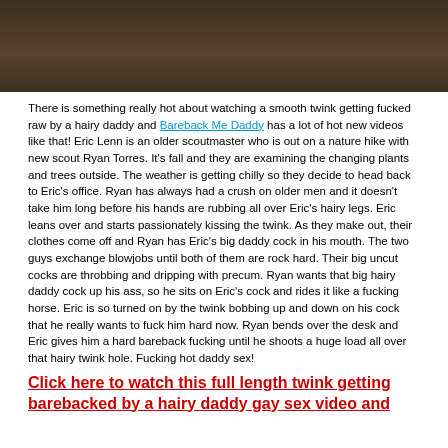[Figure (photo): Partial photo of two people, dark/muted tones, top portion of image cropped]
There is something really hot about watching a smooth twink getting fucked raw by a hairy daddy and Bareback Me Daddy has a lot of hot new videos like that!  Eric Lenn is an older scoutmaster who is out on a nature hike with new scout Ryan Torres.  It's fall and they are examining the changing plants and trees outside.  The weather is getting chilly so they decide to head back to Eric's office.  Ryan has always had a crush on older men and it doesn't take him long before his hands are rubbing all over Eric's hairy legs.  Eric leans over and starts passionately kissing the twink.  As they make out, their clothes come off and Ryan has Eric's big daddy cock in his mouth.  The two guys exchange blowjobs until both of them are rock hard. Their big uncut cocks are throbbing and dripping with precum. Ryan wants that big hairy daddy cock up his ass, so he sits on Eric's cock and rides it like a fucking horse.  Eric is so turned on by the twink bobbing up and down on his cock that he really wants to fuck him hard now.  Ryan bends over the desk and Eric gives him a hard bareback fucking until he shoots a huge load all over that hairy twink hole.  Fucking hot daddy sex!
Click here to watch this full length twink getting barebacked by a hairy daddy gay sex video and